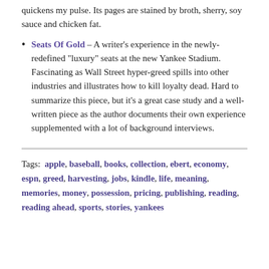quickens my pulse. Its pages are stained by broth, sherry, soy sauce and chicken fat.
Seats Of Gold – A writer's experience in the newly-redefined "luxury" seats at the new Yankee Stadium. Fascinating as Wall Street hyper-greed spills into other industries and illustrates how to kill loyalty dead. Hard to summarize this piece, but it's a great case study and a well-written piece as the author documents their own experience supplemented with a lot of background interviews.
Tags: apple, baseball, books, collection, ebert, economy, espn, greed, harvesting, jobs, kindle, life, meaning, memories, money, possession, pricing, publishing, reading, reading ahead, sports, stories, yankees